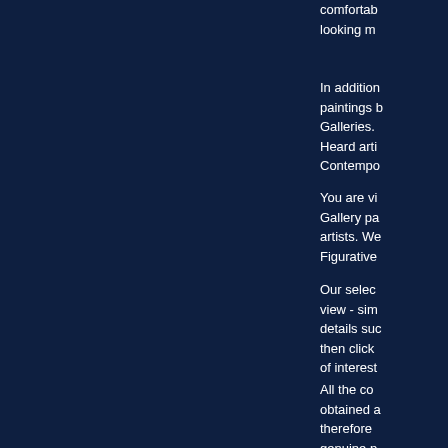comfortable looking m
In addition paintings b Galleries. Heard arti Contempo
You are vi Gallery pa artists. We Figurative
Our selec view - sim details suc then click of interest
All the co obtained a therefore genuine p
Red Rag G selling co art shipme contempo
If you wou about con please em